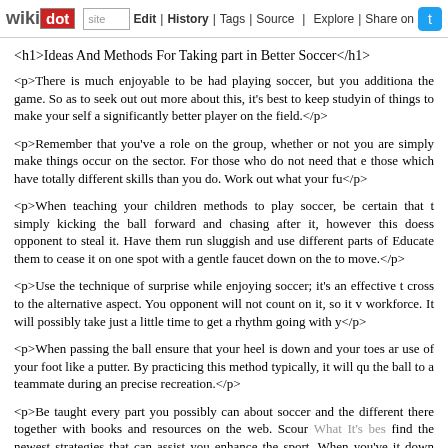wikidot | site | Edit | History | Tags | Source | Explore | Share on Twitter
<h1>Ideas And Methods For Taking part in Better Soccer</h1>
<p>There is much enjoyable to be had playing soccer, but you additionally the game. So as to seek out out more about this, it's best to keep studyin of things to make your self a significantly better player on the field.</p>
<p>Remember that you've a role on the group, whether or not you are simply make things occur on the sector. For those who do not need that e those which have totally different skills than you do. Work out what your fu</p>
<p>When teaching your children methods to play soccer, be certain that t simply kicking the ball forward and chasing after it, however this doess opponent to steal it. Have them run sluggish and use different parts of Educate them to cease it on one spot with a gentle faucet down on the to move.</p>
<p>Use the technique of surprise while enjoying soccer; it's an effective t cross to the alternative aspect. You opponent will not count on it, so it v workforce. It will possibly take just a little time to get a rhythm going with y</p>
<p>When passing the ball ensure that your heel is down and your toes ar use of your foot like a putter. By practicing this method typically, it will qu the ball to a teammate during an precise recreation.</p>
<p>Be taught every part you possibly can about soccer and the different there together with books and resources on the web. Scour What It's bes find the newest strategies that can assist you enhance the sport. When you've it down pat.</p>